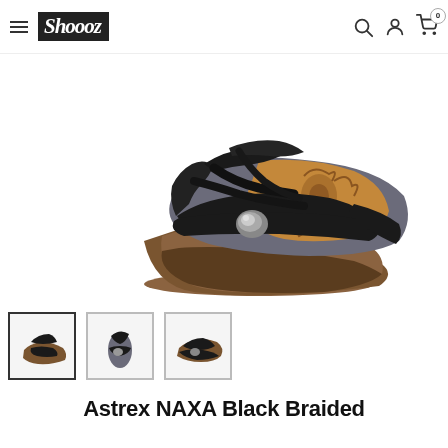Shoooz — navigation header with logo, search, account, and cart icons
[Figure (photo): Product photo of a black braided wedge sandal (NAXA style by Astrey) shown from the side on a white background. The sandal has multiple black leather cross straps, a decorative metal dome stud, a grey/denim footbed with brown floral print, and a wedge cork sole.]
[Figure (photo): Three thumbnail images of the same black braided wedge sandal from different angles: side view (selected/active), front/top view, and rear/diagonal view.]
Astrex NAXA Black Braided